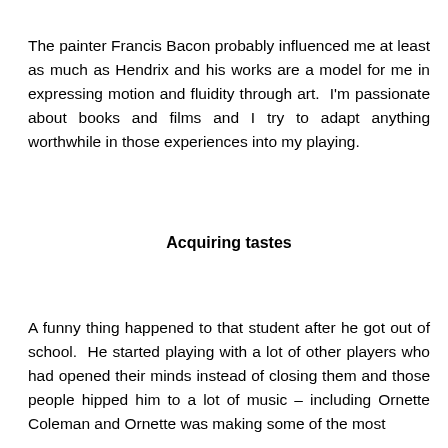The painter Francis Bacon probably influenced me at least as much as Hendrix and his works are a model for me in expressing motion and fluidity through art.  I'm passionate about books and films and I try to adapt anything worthwhile in those experiences into my playing.
Acquiring tastes
A funny thing happened to that student after he got out of school.  He started playing with a lot of other players who had opened their minds instead of closing them and those people hipped him to a lot of music – including Ornette Coleman and Ornette was making some of the most